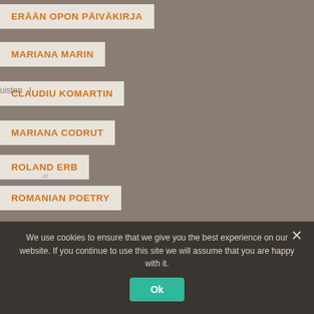ERÄÄN OPON PÄIVÄKIRJA
MARIANA MARIN
CLAUDIU KOMARTIN
MARIANA CODRUT
ROLAND ERB
ROMANIAN POETRY
ESSAYS
STORIES
We use cookies to ensure that we give you the best experience on our website. If you continue to use this site we will assume that you are happy with it.
Ok